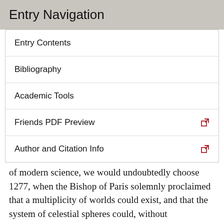Entry Navigation
Entry Contents
Bibliography
Academic Tools
Friends PDF Preview
Author and Citation Info
of modern science, we would undoubtedly choose 1277, when the Bishop of Paris solemnly proclaimed that a multiplicity of worlds could exist, and that the system of celestial spheres could, without contradiction, be endowed with straight line motion” (1906–13, II.411; see also 1913–59, VII. 4). Koyré calls the two theses from the condemnations of 1277 “absurdities,” noting that they arise in a theological context, and rejects Duhem's date for the birth of modern science; he remarks that Duhem gives another date elsewhere, corresponding to Buridan's impetus theory being extended to the heavens, but